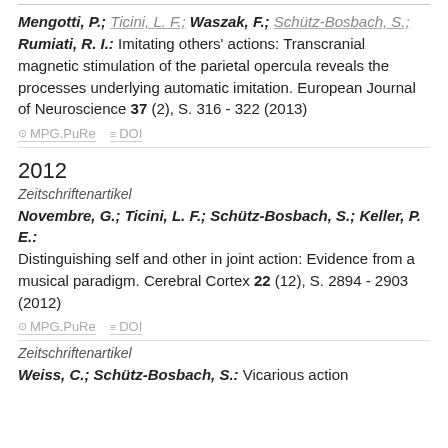Mengotti, P.; Ticini, L. F.; Waszak, F.; Schütz-Bosbach, S.; Rumiati, R. I.: Imitating others' actions: Transcranial magnetic stimulation of the parietal opercula reveals the processes underlying automatic imitation. European Journal of Neuroscience 37 (2), S. 316 - 322 (2013)
MPG.PuRe   DOI
2012
Zeitschriftenartikel
Novembre, G.; Ticini, L. F.; Schütz-Bosbach, S.; Keller, P. E.: Distinguishing self and other in joint action: Evidence from a musical paradigm. Cerebral Cortex 22 (12), S. 2894 - 2903 (2012)
MPG.PuRe   DOI
Zeitschriftenartikel
Weiss, C.; Schütz-Bosbach, S.: Vicarious action